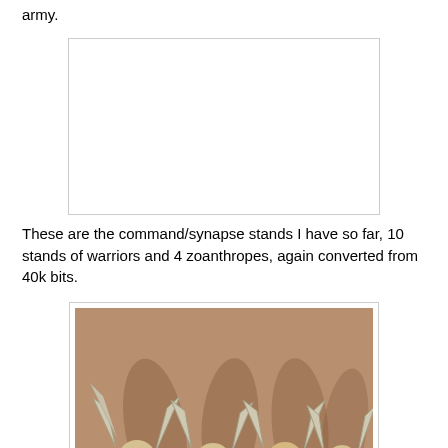army.
[Figure (photo): Blank white image placeholder for command/synapse stands]
These are the command/synapse stands I have so far, 10 stands of warriors and 4 zoanthropes, again converted from 40k bits.
[Figure (photo): Four painted Tyranid zoanthrope miniatures made from rippers and Tyranid warrior heads, with wings, posed on grey bases against a warm brown background]
These zoanthropes are made from rippers and Tyranid warrior heads, to give an impression of giant floating brains. They're quite a bit larger proportionally that what they should be compared to the other Epic miniatures, but they're around